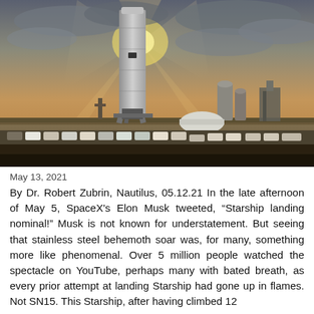[Figure (photo): SpaceX Starship prototype rocket standing tall on the launch pad at Boca Chica, Texas, at dusk/sunset with dramatic cloudy sky. Various support structures, a white dome building, and rows of parked cars are visible in the background.]
May 13, 2021
By Dr. Robert Zubrin, Nautilus, 05.12.21 In the late afternoon of May 5, SpaceX's Elon Musk tweeted, “Starship landing nominal!” Musk is not known for understatement. But seeing that stainless steel behemoth soar was, for many, something more like phenomenal. Over 5 million people watched the spectacle on YouTube, perhaps many with bated breath, as every prior attempt at landing Starship had gone up in flames. Not SN15. This Starship, after having climbed 12